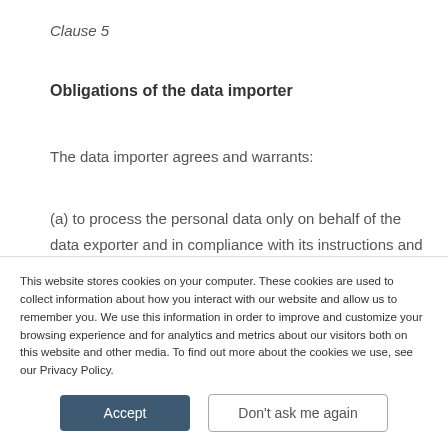Clause 5
Obligations of the data importer
The data importer agrees and warrants:
(a) to process the personal data only on behalf of the data exporter and in compliance with its instructions and the Clauses; if it cannot provide such compliance for
This website stores cookies on your computer. These cookies are used to collect information about how you interact with our website and allow us to remember you. We use this information in order to improve and customize your browsing experience and for analytics and metrics about our visitors both on this website and other media. To find out more about the cookies we use, see our Privacy Policy.